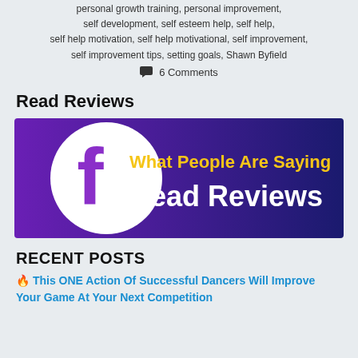personal growth training, personal improvement, self development, self esteem help, self help, self help motivation, self help motivational, self improvement, self improvement tips, setting goals, Shawn Byfield
💬 6 Comments
Read Reviews
[Figure (illustration): Facebook-branded banner with purple-to-indigo gradient background, white circle with purple Facebook 'f' logo on left, yellow text 'What People Are Saying' and white bold text 'Read Reviews' on right]
RECENT POSTS
🔥 This ONE Action Of Successful Dancers Will Improve Your Game At Your Next Competition